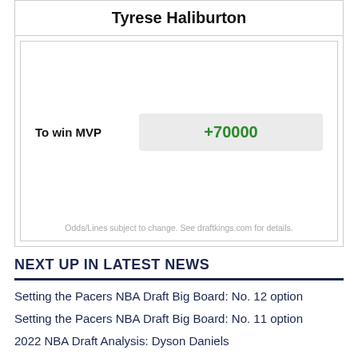Tyrese Haliburton
|  |  |
| --- | --- |
| To win MVP | +70000 |
Odds/Lines subject to change. See draftkings.com for details.
NEXT UP IN LATEST NEWS
Setting the Pacers NBA Draft Big Board: No. 12 option
Setting the Pacers NBA Draft Big Board: No. 11 option
2022 NBA Draft Analysis: Dyson Daniels
Setting the Pacers NBA Draft Big Board: No. 10 option